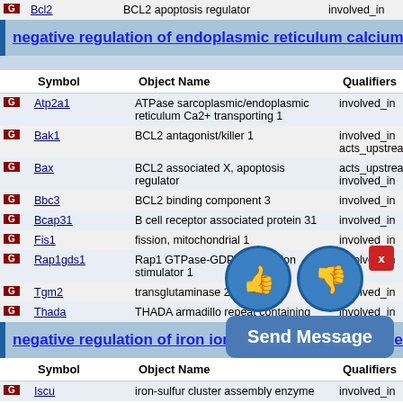|  | Symbol | Object Name | Qualifiers |
| --- | --- | --- | --- |
| G | Bcl2 | BCL2 apoptosis regulator | involved_in |
negative regulation of endoplasmic reticulum calcium ion c…
|  | Symbol | Object Name | Qualifiers |
| --- | --- | --- | --- |
| G | Atp2a1 | ATPase sarcoplasmic/endoplasmic reticulum Ca2+ transporting 1 | involved_in |
| G | Bak1 | BCL2 antagonist/killer 1 | involved_in
acts_upstream_of_or_wit… |
| G | Bax | BCL2 associated X, apoptosis regulator | acts_upstream_of_or_wit…
involved_in |
| G | Bbc3 | BCL2 binding component 3 | involved_in |
| G | Bcap31 | B cell receptor associated protein 31 | involved_in |
| G | Fis1 | fission, mitochondrial 1 | involved_in |
| G | Rap1gds1 | Rap1 GTPase-GDP dissociation stimulator 1 | involved_in |
| G | Tgm2 | transglutaminase 2 | involved_in |
| G | Thada | THADA armadillo repeat containing | involved_in |
negative regulation of iron ion im… cro… sma mem…
|  | Symbol | Object Name | Qualifiers |
| --- | --- | --- | --- |
| G | Iscu | iron-sulfur cluster assembly enzyme | involved_in |